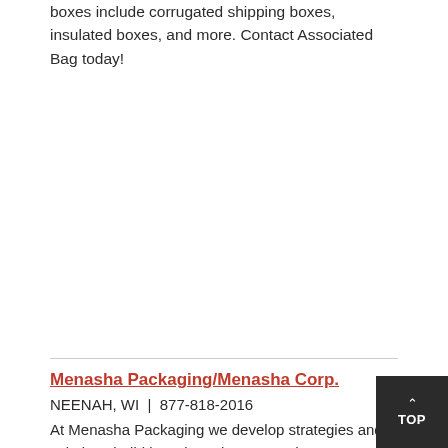boxes include corrugated shipping boxes, insulated boxes, and more. Contact Associated Bag today!
Menasha Packaging/Menasha Corp.
NEENAH, WI  |  877-818-2016
At Menasha Packaging we develop strategies and solutions build brands and preserve the environment. We speciali